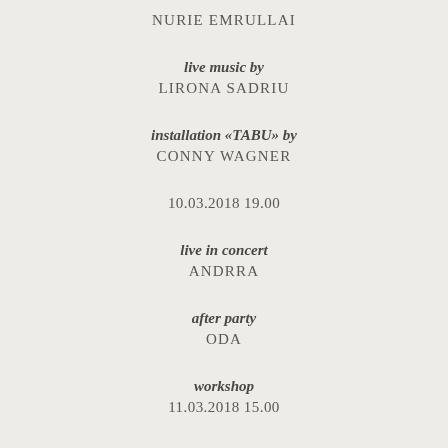NURIE EMRULLAI
live music by
LIRONA SADRIU
installation «TABU» by
CONNY WAGNER
10.03.2018 19.00
live in concert
ANDRRA
after party
ODA
workshop
11.03.2018 15.00